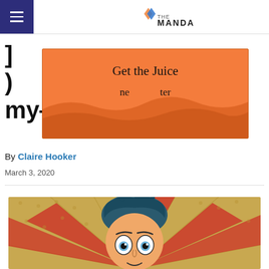The Mandarin
[partial title obscured] my...
[Figure (infographic): Orange promotional banner overlay reading 'Get the Juice' with wave design and partial text 'ne...ter' beneath]
By Claire Hooker
March 3, 2020
[Figure (illustration): Pop-art style comic illustration of a wide-eyed surprised man with tousled dark hair on a red and gold radial sunburst dotted background]